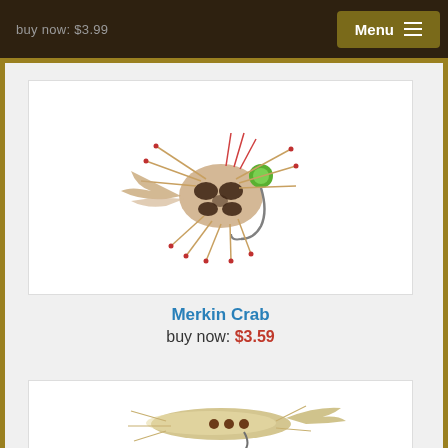buy now: $3.99  Menu
[Figure (photo): Merkin Crab fly fishing lure with green bead head, tan/brown body, and pink/orange legs and feathers]
Merkin Crab
buy now: $3.59
[Figure (photo): Tan/beige shrimp-style fly fishing lure with feathered body and hook]